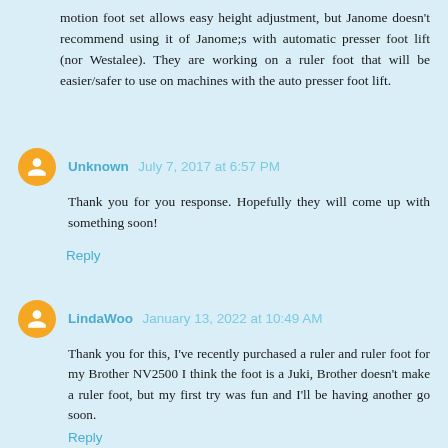motion foot set allows easy height adjustment, but Janome doesn't recommend using it of Janome;s with automatic presser foot lift (nor Westalee). They are working on a ruler foot that will be easier/safer to use on machines with the auto presser foot lift.
Unknown July 7, 2017 at 6:57 PM
Thank you for you response. Hopefully they will come up with something soon!
Reply
LindaWoo January 13, 2022 at 10:49 AM
Thank you for this, I've recently purchased a ruler and ruler foot for my Brother NV2500 I think the foot is a Juki, Brother doesn't make a ruler foot, but my first try was fun and I'll be having another go soon.
Reply